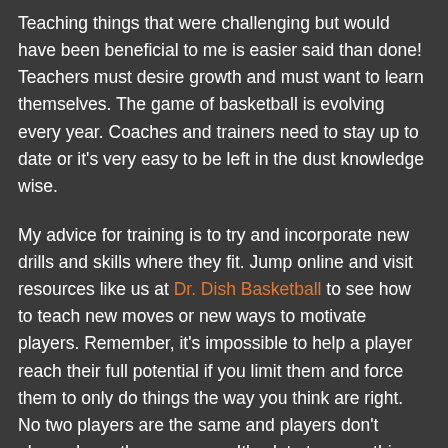Teaching things that were challenging but would have been beneficial to me is easier said than done! Teachers must desire growth and must want to learn themselves. The game of basketball is evolving every year. Coaches and trainers need to stay up to date or it's very easy to be left in the dust knowledge wise.
My advice for training is to try and incorporate new drills and skills where they fit. Jump online and visit resources like us at Dr. Dish Basketball to see how to teach new moves or new ways to motivate players. Remember, it's impossible to help a player reach their full potential if you limit them and force them to only do things the way you think are right. No two players are the same and players don't always learn the same way. It's ok to try something